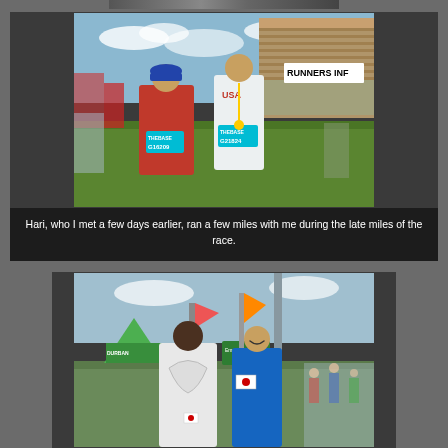[Figure (photo): Two runners posing together at a race finish area with stadium bleachers in the background. One wearing a red shirt with a race bib (G16209) and the other wearing a white USA singlet with a race bib (G21824). A sign reading RUNNERS INF is visible in the background.]
Hari, who I met a few days earlier, ran a few miles with me during the late miles of the race.
[Figure (photo): Two runners at a race finish area, one in a white singlet and one in a blue Japan singlet, with a green tent and Emergency Exit sign visible in the background.]